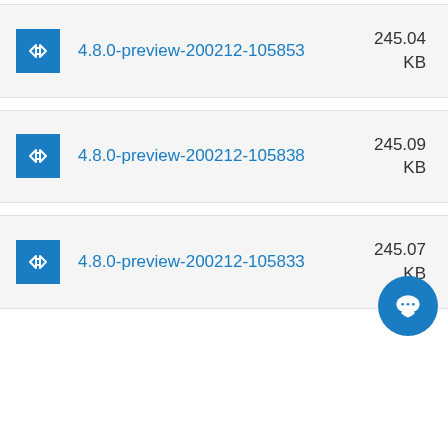4.8.0-preview-200212-105853 245.04 KB
4.8.0-preview-200212-105838 245.09 KB
4.8.0-preview-200212-105833 245.07 KB